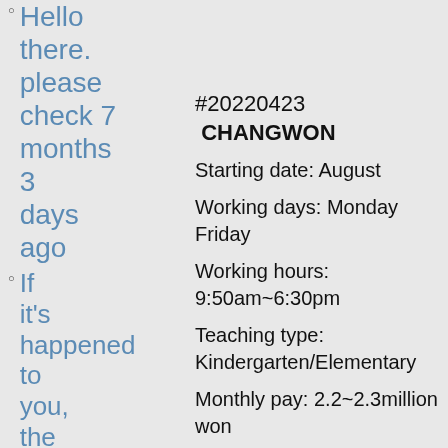Hello there. please check 7 months 3 days ago
If it's happened to you, the time is now 8 months 2
#20220423  CHANGWON
Starting date: August
Working days: Monday Friday
Working hours: 9:50am~6:30pm
Teaching type: Kindergarten/Elementary
Monthly pay: 2.2~2.3million won
Housing: yes
Vacation: yes
Benefits: yes
Does the school pay monthly contributions into a Pension Plan? :